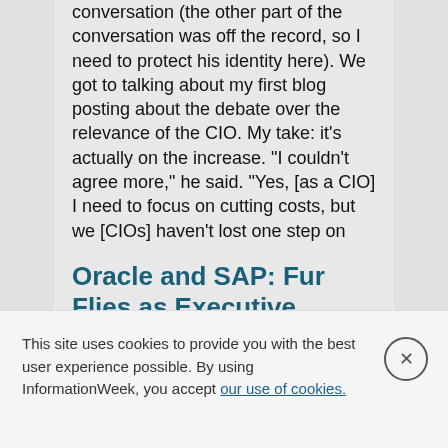conversation (the other part of the conversation was off the record, so I need to protect his identity here). We got to talking about my first blog posting about the debate over the relevance of the CIO. My take: it's actually on the increase. "I couldn't agree more," he said. "Yes, [as a CIO] I need to focus on cutting costs, but we [CIOs] haven't lost one step on
Oracle and SAP: Fur Flies as Executive Jumps Ship
COMMENTARY | 3/29/2007
It's been an interesting week for the two giants slugging it out in the business software marketplace. First Oracle filed suit against SAP for intellectual property
This site uses cookies to provide you with the best user experience possible. By using InformationWeek, you accept our use of cookies.